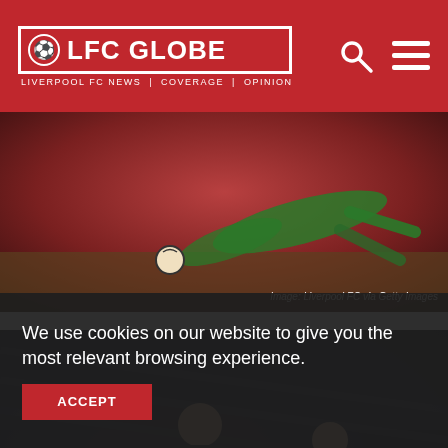LFC GLOBE — LIVERPOOL FC NEWS | COVERAGE | OPINION
[Figure (photo): Goalkeeper diving to save a ball during a Liverpool FC match, wearing green kit]
Image: Liverpool FC via Getty Images
[Figure (photo): Manager and a referee in yellow kit on the sideline during a Liverpool FC match]
We use cookies on our website to give you the most relevant browsing experience.